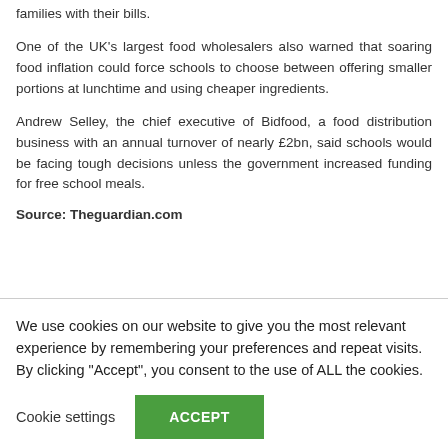families with their bills.
One of the UK’s largest food wholesalers also warned that soaring food inflation could force schools to choose between offering smaller portions at lunchtime and using cheaper ingredients.
Andrew Selley, the chief executive of Bidfood, a food distribution business with an annual turnover of nearly £2bn, said schools would be facing tough decisions unless the government increased funding for free school meals.
Source: Theguardian.com
We use cookies on our website to give you the most relevant experience by remembering your preferences and repeat visits. By clicking “Accept”, you consent to the use of ALL the cookies.
Cookie settings
ACCEPT